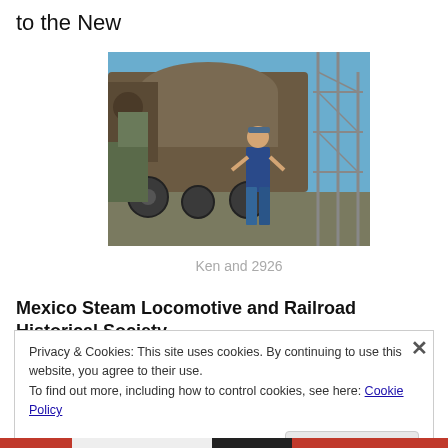to the New
[Figure (photo): A man standing in front of a large old steam locomotive (2926), with machinery, scaffolding, and blue sky in the background.]
Ken and 2926
Mexico Steam Locomotive and Railroad Historical Society.
Privacy & Cookies: This site uses cookies. By continuing to use this website, you agree to their use.
To find out more, including how to control cookies, see here: Cookie Policy
Close and accept